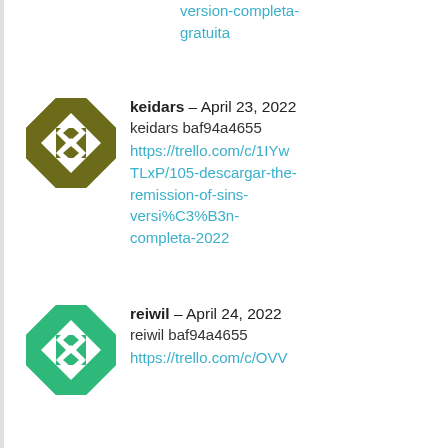version-completa-gratuita
[Figure (illustration): Olive/dark yellow geometric quilt-pattern avatar for user keidars]
keidars – April 23, 2022
keidars baf94a4655
https://trello.com/c/1IYwTLxP/105-descargar-the-remission-of-sins-versi%C3%B3n-completa-2022
[Figure (illustration): Green geometric quilt-pattern avatar for user reiwil]
reiwil – April 24, 2022
reiwil baf94a4655
https://trello.com/c/OVV